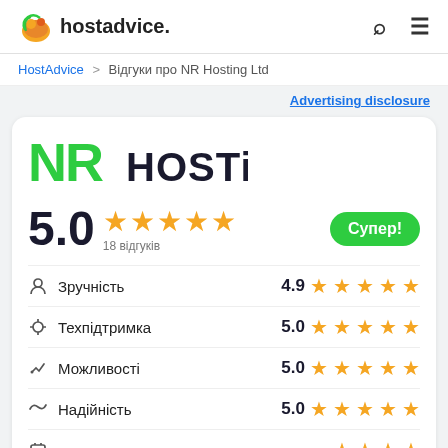hostadvice. [search] [menu]
HostAdvice > Відгуки про NR Hosting Ltd
Advertising disclosure
[Figure (logo): NR Hosting logo in green and black]
5.0 ★★★★★ 18 відгуків  Супер!
| Категорія | Оцінка |
| --- | --- |
| Зручність | 4.9 ★★★★★ |
| Техпідтримка | 5.0 ★★★★★ |
| Можливості | 5.0 ★★★★★ |
| Надійність | 5.0 ★★★★★ |